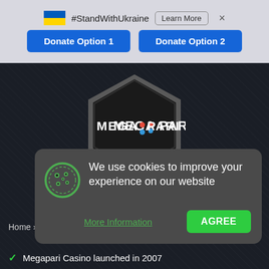#StandWithUkraine  Learn More  ×
Donate Option 1   Donate Option 2
[Figure (logo): MegaPari casino logo inside a dark hexagon shape on dark background]
★★★★★ casino rank: 60/100
Home › O...
We use cookies to improve your experience on our website
More Information   AGREE
Megapari Casino launched in 2007